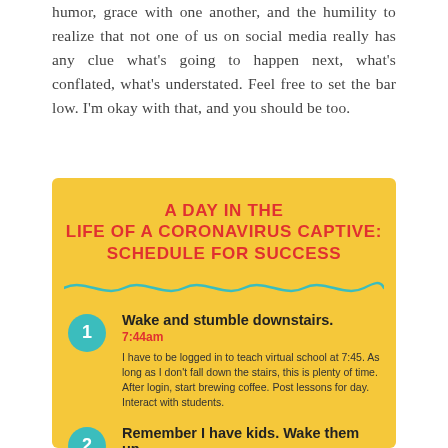humor, grace with one another, and the humility to realize that not one of us on social media really has any clue what's going to happen next, what's conflated, what's understated. Feel free to set the bar low. I'm okay with that, and you should be too.
[Figure (infographic): Yellow infographic titled 'A Day in the Life of a Coronavirus Captive: Schedule for Success'. Contains a teal wavy divider line, numbered steps in teal circles. Step 1: Wake and stumble downstairs. 7:44am. Description: I have to be logged in to teach virtual school at 7:45. As long as I don't fall down the stairs, this is plenty of time. After login, start brewing coffee. Post lessons for day. Interact with students. Step 2 (partial): Remember I have kids. Wake them up.]